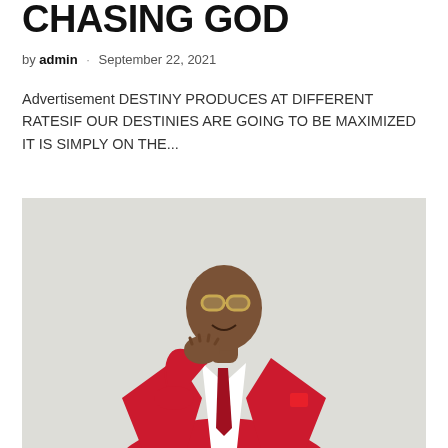CHASING GOD
by admin · September 22, 2021
Advertisement DESTINY PRODUCES AT DIFFERENT RATESIF OUR DESTINIES ARE GOING TO BE MAXIMIZED IT IS SIMPLY ON THE...
[Figure (photo): A man wearing a bright red double-breasted suit with sunglasses, smiling and posing with his hand on his chin, against a light grey background.]